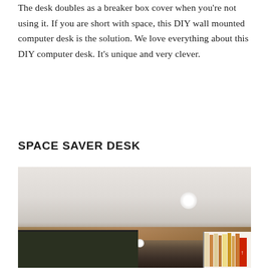The desk doubles as a breaker box cover when you’re not using it. If you are short with space, this DIY wall mounted computer desk is the solution. We love everything about this DIY computer desk. It’s unique and very clever.
SPACE SAVER DESK
[Figure (photo): Interior room photo showing a modern ceiling with recessed lighting, a wooden ceiling band, large floor-to-ceiling windows looking onto greenery, and a partial bookshelf on the right edge.]